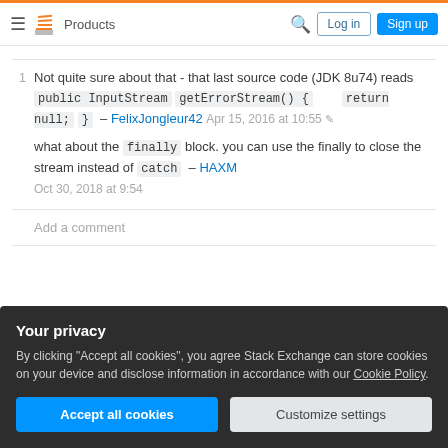Stack Overflow navigation bar with hamburger, logo, Products, search, Log in, Sign up
1  Not quite sure about that - that last source code (JDK 8u74) reads public InputStream getErrorStream() {   return null; }  – FelixJongleur42 Apr 15, 2016 at 10:55
what about the finally block. you can use the finally to close the stream instead of catch – HAXM Oct 30, 2018 at 9:54
Add a comment
Your privacy
By clicking "Accept all cookies", you agree Stack Exchange can store cookies on your device and disclose information in accordance with our Cookie Policy.
Accept all cookies  Customize settings